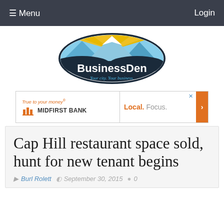≡ Menu   Login
[Figure (logo): BusinessDen logo with mountain imagery and tagline 'Your city. Your business.']
[Figure (infographic): MidFirst Bank advertisement: True to your money® | MIDFIRST BANK | Local. Focus.]
Cap Hill restaurant space sold, hunt for new tenant begins
Burl Rolett   September 30, 2015   0